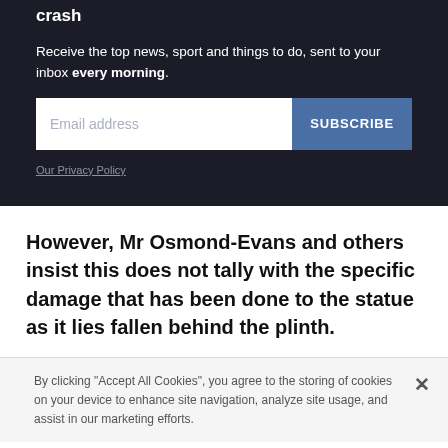crash
Receive the top news, sport and things to do, sent to your inbox every morning.
Email address
SUBSCRIBE
Our Privacy Policy
However, Mr Osmond-Evans and others insist this does not tally with the specific damage that has been done to the statue as it lies fallen behind the plinth.
By clicking "Accept All Cookies", you agree to the storing of cookies on your device to enhance site navigation, analyze site usage, and assist in our marketing efforts.